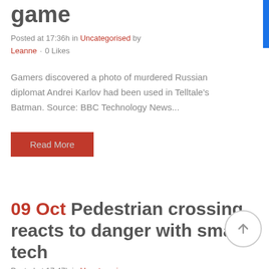game
Posted at 17:36h in Uncategorised by Leanne · 0 Likes
Gamers discovered a photo of murdered Russian diplomat Andrei Karlov had been used in Telltale's Batman. Source: BBC Technology News...
Read More
09 Oct Pedestrian crossing reacts to danger with smart tech
Posted at 17:47h in Uncategorised